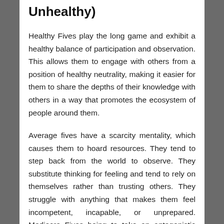Unhealthy)
Healthy Fives play the long game and exhibit a healthy balance of participation and observation. This allows them to engage with others from a position of healthy neutrality, making it easier for them to share the depths of their knowledge with others in a way that promotes the ecosystem of people around them.
Average fives have a scarcity mentality, which causes them to hoard resources. They tend to step back from the world to observe. They substitute thinking for feeling and tend to rely on themselves rather than trusting others. They struggle with anything that makes them feel incompetent, incapable, or unprepared. Mediocre Fives being to take an antagonistic stance towards anything that would threaten their personal world or inner vision. They tend to become more extreme and radical in their views, into more personally challenging situations.